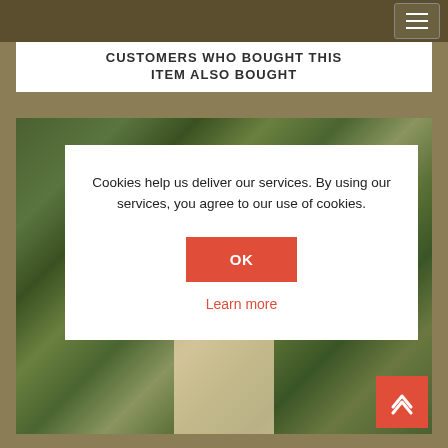CUSTOMERS WHO BOUGHT THIS ITEM ALSO BOUGHT
[Figure (photo): Photo of a woman wearing traditional Indian fashion (dark embroidered top with light skirt) surrounded by houseplants with green foliage]
Cookies help us deliver our services. By using our services, you agree to our use of cookies.
OK
Learn more